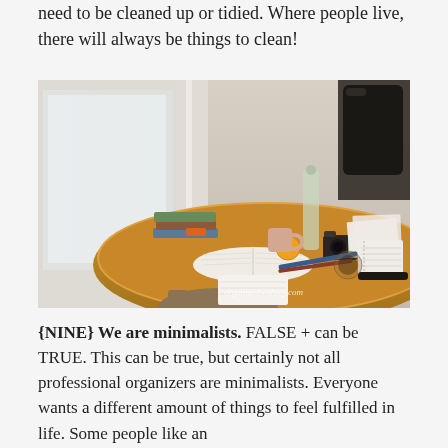need to be cleaned up or tidied. Where people live, there will always be things to clean!
[Figure (photo): A cluttered round wooden table covered with open books, notebooks, pens, a camera, a mug, an orange, a glass jar, and other items in a bright room. Watermark reads 'organizedwithjoy.com']
{NINE} We are minimalists. FALSE + can be TRUE. This can be true, but certainly not all professional organizers are minimalists. Everyone wants a different amount of things to feel fulfilled in life. Some people like an